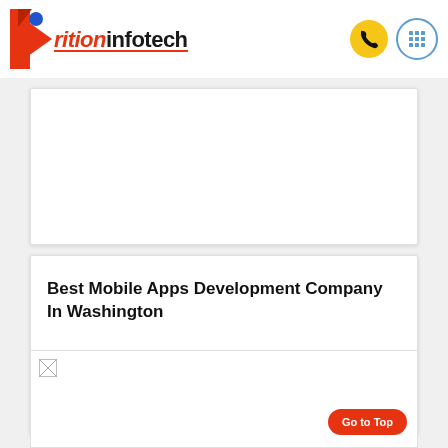[Figure (logo): Arition Infotech logo with red arrow icon and stylized text, with underline]
[Figure (other): Phone icon in yellow circle button]
[Figure (other): Grid/menu icon in blue-outlined circle button]
[Figure (other): White card/panel area - image placeholder (top card)]
Best Mobile Apps Development Company In Washington
[Figure (other): White card with broken image icon at top left]
Go to Top